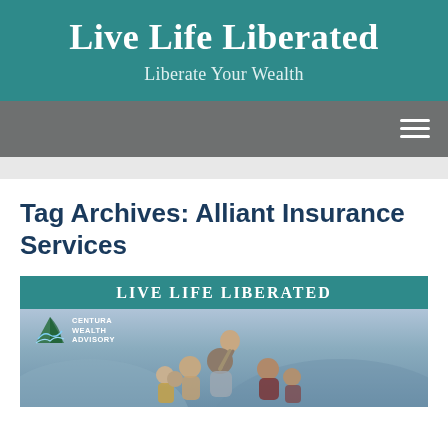Live Life Liberated
Liberate Your Wealth
Navigation menu (hamburger icon)
Tag Archives: Alliant Insurance Services
[Figure (illustration): Article card with teal 'LIVE LIFE LIBERATED' header banner and a photo of a multi-generational family group outdoors with mountains in background. Centura Wealth Advisory logo visible in upper left of photo.]